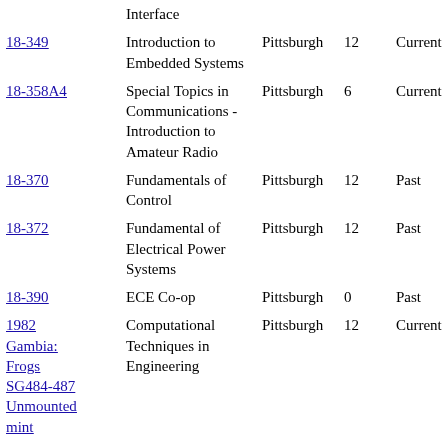| Course | Title | Location | Units | Status |
| --- | --- | --- | --- | --- |
|  | Interface |  |  |  |
| 18-349 | Introduction to Embedded Systems | Pittsburgh | 12 | Current |
| 18-358A4 | Special Topics in Communications - Introduction to Amateur Radio | Pittsburgh | 6 | Current |
| 18-370 | Fundamentals of Control | Pittsburgh | 12 | Past |
| 18-372 | Fundamental of Electrical Power Systems | Pittsburgh | 12 | Past |
| 18-390 | ECE Co-op | Pittsburgh | 0 | Past |
| 1982 Gambia: Frogs SG484-487 Unmounted mint | Computational Techniques in Engineering | Pittsburgh | 12 | Current |
| 18-416 | Nano-Bio-Photonics | Pittsburgh | 12 | Current |
| 18-421 | Analog Integrated Circuit Design | Pittsburgh | 12 | Past |
| 18-422 | Digital Integrated | Pittsburgh | 12 | Past |